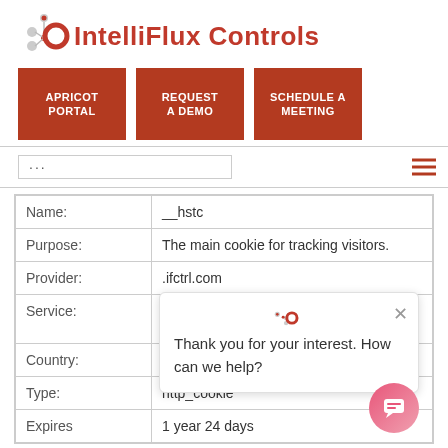[Figure (logo): IntelliFlux Controls logo with network node graphic and red circular icon]
[Figure (screenshot): Navigation buttons: APRICOT PORTAL, REQUEST A DEMO, SCHEDULE A MEETING on dark red background]
| Name: | __hstc |
| Purpose: | The main cookie for tracking visitors. |
| Provider: | .ifctrl.com |
| Service: | Hubspot. Privacy Policy |
| Country: | United States |
| Type: | http_cookie |
| Expires | 1 year 24 days |
Thank you for your interest. How can we help?